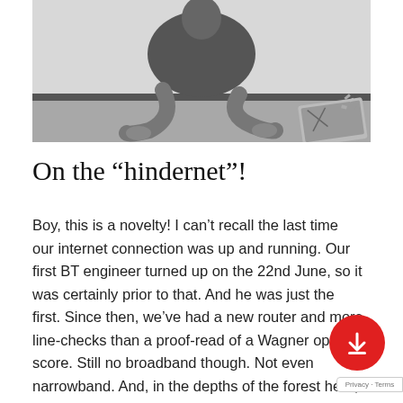[Figure (photo): Black and white photo of a person sitting on a floor with legs crossed, a laptop visible to the right side, appearing to have been thrown or damaged.]
On the “hindernet”!
Boy, this is a novelty! I can’t recall the last time our internet connection was up and running. Our first BT engineer turned up on the 22nd June, so it was certainly prior to that. And he was just the first. Since then, we’ve had a new router and more line-checks than a proof-read of a Wagner opera score. Still no broadband though. Not even narrowband. And, in the depths of the forest here, that means we have no phone connection either. We’d previously accepted an offer to use mobiles exclusively, connecting through broadband. So we’ve been effectively cut off. No